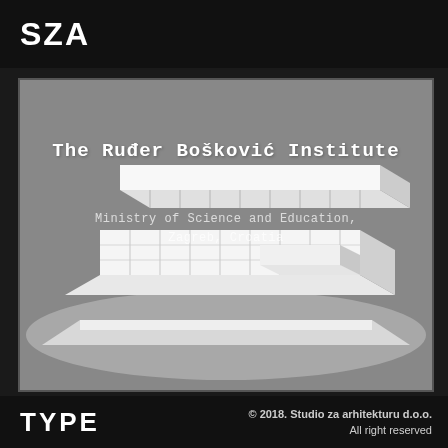SZA
[Figure (illustration): Architectural 3D rendering of a white building model (The Ruđer Bošković Institute) on a gray background, showing a low horizontal modernist structure with a flat roof and grid facade, viewed from an isometric angle.]
The Ruđer Bošković Institute
Ministry of Science and Education, Zagreb, Croatia
TYPE   © 2018. Studio za arhitekturu d.o.o. All right reserved